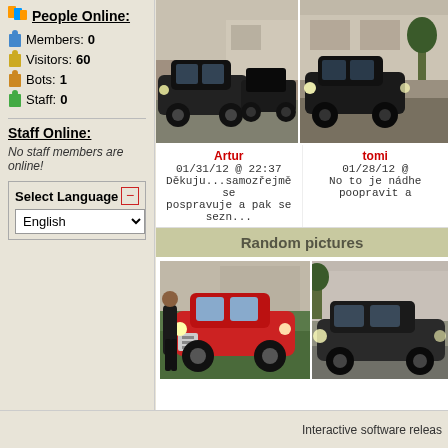People Online:
Members: 0
Visitors: 60
Bots: 1
Staff: 0
Staff Online:
No staff members are online!
Select Language
[Figure (photo): Two dark/black vintage cars parked in front of a building - left photo]
[Figure (photo): Dark vintage car parked in front of building - right photo (partially cropped)]
Artur
01/31/12 @ 22:37
Děkuju...samozřejmě se pospravuje a pak se sezn...
tomi
01/28/12 @
No to je nádhe
poopravit a
Random pictures
[Figure (photo): Person standing next to a red vintage car on grass]
[Figure (photo): Dark vintage car parked near building - right random photo]
Interactive software releas